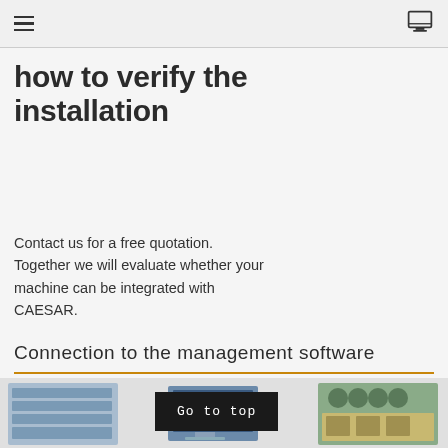navigation header with hamburger menu and monitor icon
how to verify the installation
Contact us for a free quotation. Together we will evaluate whether your machine can be integrated with CAESAR.
Connection to the management software
[Figure (photo): Bottom section showing three images: stacked server/hardware units on left, a computer monitor display in center, and industrial machinery with green elements on right. A 'Go to top' button overlay is visible in dark background.]